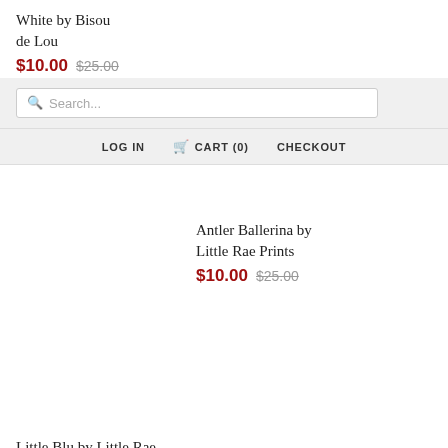White by Bisou de Lou
$10.00 $25.00
[Figure (screenshot): Search bar with placeholder text 'Search...']
LOG IN   CART (0)   CHECKOUT
Antler Ballerina by Little Rae Prints
$10.00 $25.00
Little Blu by Little Rae Prints
$10.00 $25.00